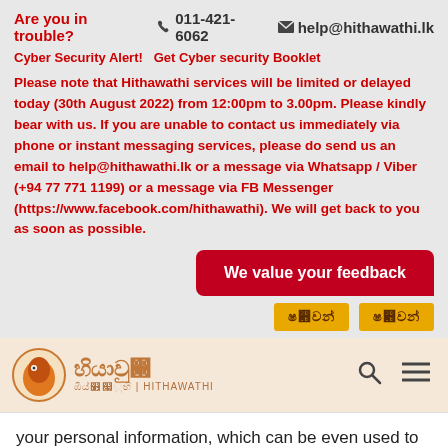Are you in trouble? 011-421-6062 help@hithawathi.lk
Cyber Security Alert! Get Cyber security Booklet
Please note that Hithawathi services will be limited or delayed today (30th August 2022) from 12:00pm to 3.00pm. Please kindly bear with us. If you are unable to contact us immediately via phone or instant messaging services, please do send us an email to help@hithawathi.lk or a message via Whatsapp / Viber (+94 77 771 1199) or a message via FB Messenger (https://www.facebook.com/hithawathi). We will get back to you as soon as possible.
[Figure (other): We value your feedback button (red rounded rectangle) with two Sinhala script yellow buttons below]
[Figure (logo): Hithawathi logo with flame/face icon, Sinhala script text, search and menu icons]
your personal information, which can be even used to do identity theft.
[Figure (screenshot): Bank website screenshot showing BANK text and circular logo, page number 1234]